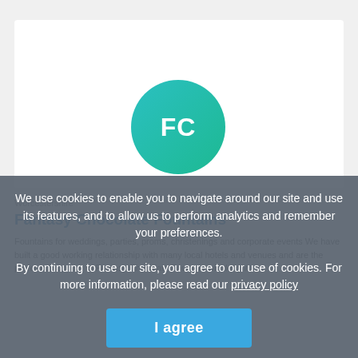[Figure (logo): Circular teal/green gradient logo with white bold text 'FC' in the center, representing Fantasy Chocolate Fountains]
Worcestershire
Fantasy Chocolate Fountains
Fountains for weddings, parties, proms, christenings and corporate events We have built a good working relationship with many local hotels and venues and are the preferred supplier to Fantasy Chocolate Fountain will delight
We use cookies to enable you to navigate around our site and use its features, and to allow us to perform analytics and remember your preferences.
By continuing to use our site, you agree to our use of cookies. For more information, please read our privacy policy
I agree